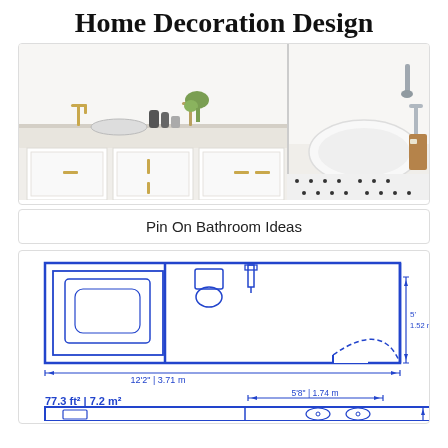Home Decoration Design
[Figure (photo): Modern bathroom with white cabinetry, gold/brass fixtures, marble countertop, and a freestanding white bathtub on black and white tile floor]
Pin On Bathroom Ideas
[Figure (engineering-diagram): Bathroom floor plan blueprint showing top-down view with bathtub/shower, toilet, and door swing. Dimensions: 12'2" | 3.71 m wide, 5' | 1.52 m door swing radius. Area: 77.3 ft² | 7.2 m². Second section shows 5'8" | 1.74 m detail with toilet and double sink layout.]